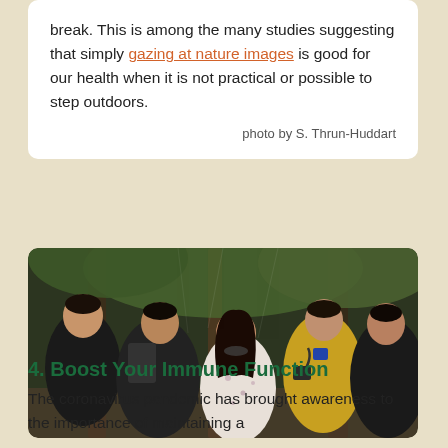break. This is among the many studies suggesting that simply gazing at nature images is good for our health when it is not practical or possible to step outdoors.
photo by S. Thrun-Huddart
[Figure (photo): Group of young people looking upward toward tree canopy in a forested setting. One person wears a yellow vest with a badge, another has a backpack. A woman in a floral top is in the center.]
4. Boost Your Immune Function
The coronavirus pandemic has brought awareness to the importance of maintaining a